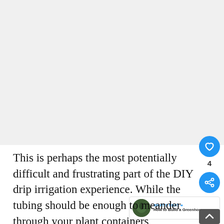[Figure (photo): Large image area, appears to be a grey/white placeholder for a photo related to DIY drip irrigation]
This is perhaps the most potentially difficult and frustrating part of the DIY drip irrigation experience. While the tubing should be enough to meander through your plant containers,